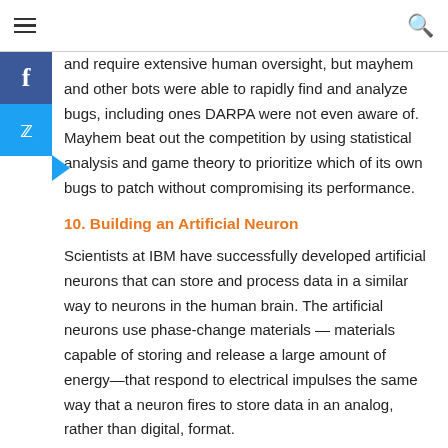≡  🔍
and require extensive human oversight, but mayhem and other bots were able to rapidly find and analyze bugs, including ones DARPA were not even aware of. Mayhem beat out the competition by using statistical analysis and game theory to prioritize which of its own bugs to patch without compromising its performance.
10. Building an Artificial Neuron
Scientists at IBM have successfully developed artificial neurons that can store and process data in a similar way to neurons in the human brain. The artificial neurons use phase-change materials — materials capable of storing and release a large amount of energy—that respond to electrical impulses the same way that a neuron fires to store data in an analog, rather than digital, format.